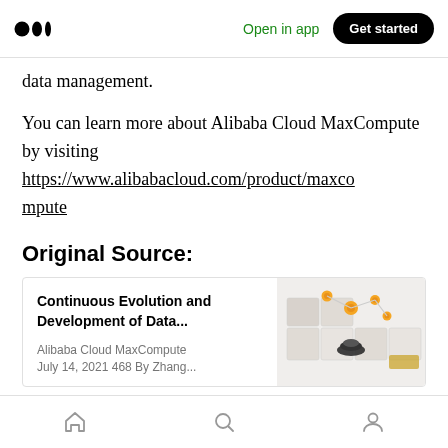Medium logo | Open in app | Get started
data management.
You can learn more about Alibaba Cloud MaxCompute by visiting https://www.alibabacloud.com/product/maxcompute
Original Source:
[Figure (other): Article card with title 'Continuous Evolution and Development of Data...' by Alibaba Cloud MaxCompute, July 14, 2021 468 By Zhang..., with a 3D illustration of connected nodes on white cubes]
Navigation bar with home, search, and profile icons